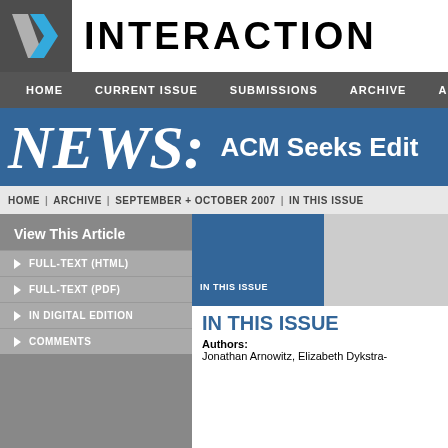IX INTERACTIONS
HOME | CURRENT ISSUE | SUBMISSIONS | ARCHIVE
NEWS: ACM Seeks Edit
HOME | ARCHIVE | SEPTEMBER + OCTOBER 2007 | IN THIS ISSUE
View This Article
FULL-TEXT (HTML)
FULL-TEXT (PDF)
IN DIGITAL EDITION
COMMENTS
[Figure (screenshot): IN THIS ISSUE thumbnail image - blue block with label]
IN THIS ISSUE
Authors:
Jonathan Arnowitz, Elizabeth Dykstra-